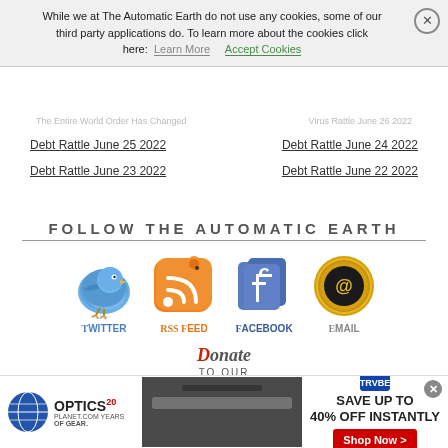Debt Rattle June 30 2022   Debt Rattle June 29 2022
While we at The Automatic Earth do not use any cookies, some of our third party applications do. To learn more about the cookies click here: Learn More   Accept Cookies
The Entire World Order Has Changed   Virus Rattle June 26 2022
Debt Rattle June 25 2022
Debt Rattle June 24 2022
Debt Rattle June 23 2022
Debt Rattle June 22 2022
FOLLOW THE AUTOMATIC EARTH
[Figure (illustration): Social media icons: Twitter bird, RSS Feed, Facebook, Email, each with label below]
DONATE TO OUR 2022
[Figure (photo): Advertisement banner: Optics Planet 20 Years, Save Up To 40% Off Instantly, Shop Now button]